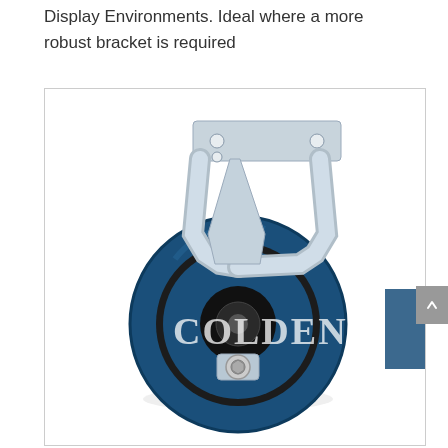Display Environments. Ideal where a more robust bracket is required
[Figure (photo): A fixed rigid castor wheel with a blue rubber tyre, black plastic centre, and a silver/chrome steel top plate bracket with mounting holes. The wheel is shown in side profile. A watermark reading 'COLDENI' appears across the wheel.]